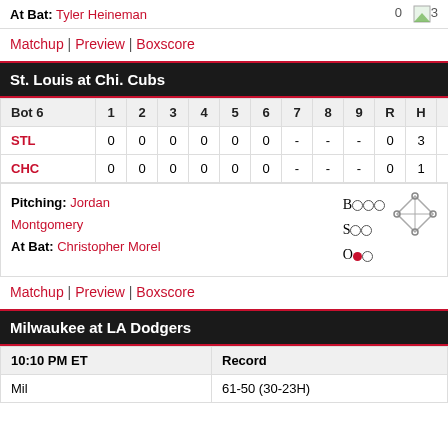At Bat: Tyler Heineman   0 [image]3
Matchup | Preview | Boxscore
St. Louis at Chi. Cubs
| Bot 6 | 1 | 2 | 3 | 4 | 5 | 6 | 7 | 8 | 9 | R | H | E |
| --- | --- | --- | --- | --- | --- | --- | --- | --- | --- | --- | --- | --- |
| STL | 0 | 0 | 0 | 0 | 0 | 0 | - | - | - | 0 | 3 | 1 |
| CHC | 0 | 0 | 0 | 0 | 0 | 0 | - | - | - | 0 | 1 | 0 |
Pitching: Jordan Montgomery   B o o o
S o o
At Bat: Christopher Morel   O • o
Matchup | Preview | Boxscore
Milwaukee at LA Dodgers
| 10:10 PM ET | Record |
| --- | --- |
| Mil | 61-50 (30-23H) |